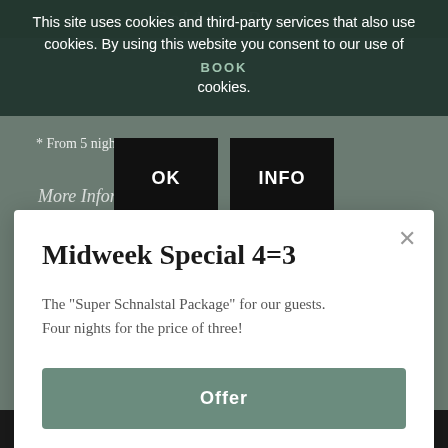Goldene Rose
This site uses cookies and third-party services that also use cookies. By using this website you consent to our use of cookies.
BOOK
* From 5 nights -10 ou
OK
INFO
More Information
Midweek Special 4=3
The "Super Schnalstal Package" for our guests. Four nights for the price of three!
Offer